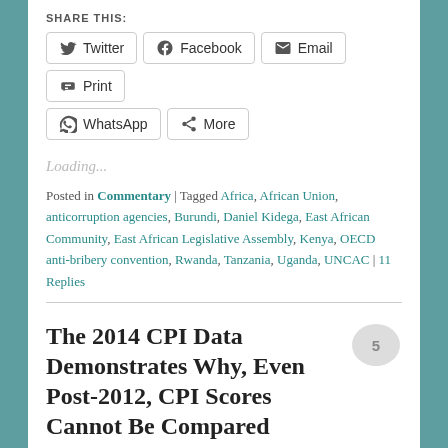SHARE THIS:
Twitter
Facebook
Email
Print
WhatsApp
More
Loading...
Posted in Commentary | Tagged Africa, African Union, anticorruption agencies, Burundi, Daniel Kidega, East African Community, East African Legislative Assembly, Kenya, OECD anti-bribery convention, Rwanda, Tanzania, Uganda, UNCAC | 11 Replies
The 2014 CPI Data Demonstrates Why, Even Post-2012, CPI Scores Cannot Be Compared Over Time